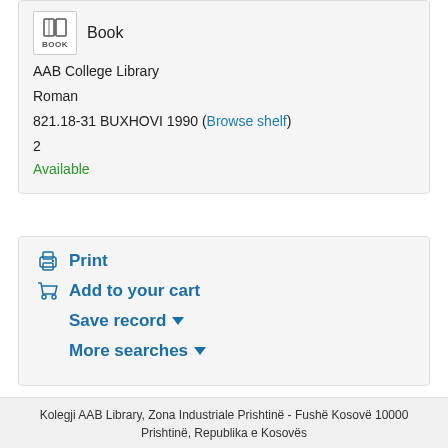[Figure (illustration): Book icon with open book image and BOOK label below]
Book
AAB College Library
Roman
821.18-31 BUXHOVI 1990 (Browse shelf)
2
Available
Print
Add to your cart
Save record ▾
More searches ▾
Kolegji AAB Library, Zona Industriale Prishtinë - Fushë Kosovë 10000
Prishtinë, Republika e Kosovës